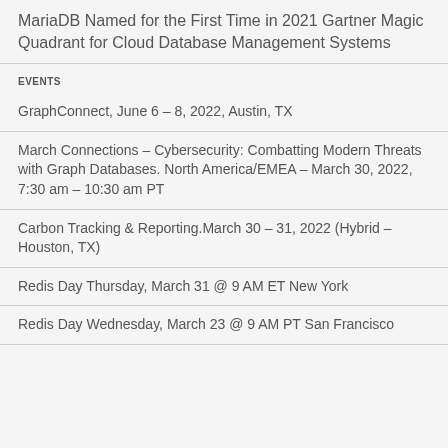MariaDB Named for the First Time in 2021 Gartner Magic Quadrant for Cloud Database Management Systems
EVENTS
GraphConnect, June 6 – 8, 2022, Austin, TX
March Connections – Cybersecurity: Combatting Modern Threats with Graph Databases. North America/EMEA – March 30, 2022, 7:30 am – 10:30 am PT
Carbon Tracking & Reporting.March 30 – 31, 2022 (Hybrid – Houston, TX)
Redis Day Thursday, March 31 @ 9 AM ET New York
Redis Day Wednesday, March 23 @ 9 AM PT San Francisco